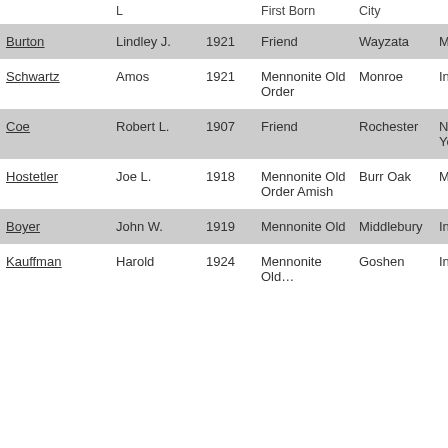|  | L |  | First Born | City |  |
| --- | --- | --- | --- | --- | --- |
| Burton | Lindley J. | 1921 | Friend | Wayzata | Minnes… |
| Schwartz | Amos | 1921 | Mennonite Old Order | Monroe | Indiana |
| Coe | Robert L. | 1907 | Friend | Rochester | New Yo… |
| Hostetler | Joe L. | 1918 | Mennonite Old Order Amish | Burr Oak | Michig… |
| Boyer | John W. | 1919 | Mennonite Old | Middlebury | Indiana |
| Kauffman | Harold | 1924 | Mennonite Old | Goshen | Indiana |